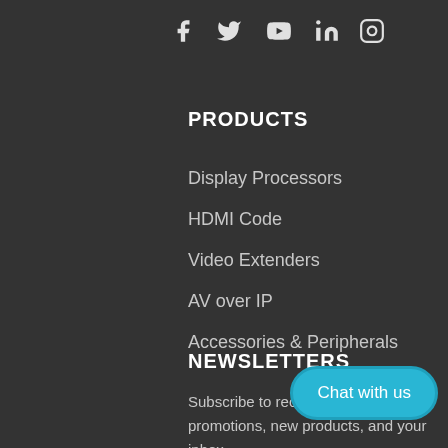[Figure (other): Social media icons: Facebook, Twitter, YouTube, LinkedIn, Instagram]
PRODUCTS
Display Processors
HDMI Code
Video Extenders
AV over IP
Accessories & Peripherals
NEWSLETTERS
Subscribe to receive information promotions, new products, and your inbox.
Chat with us